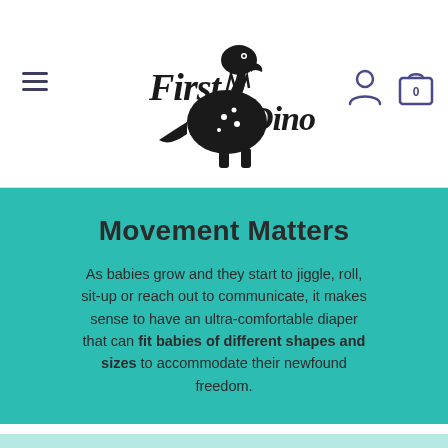[Figure (logo): First Dino brand logo with stylized dinosaur silhouette and handwritten-style text]
Movement Matters
As babies grow and they start to jiggle, roll, sit-up or reach out to communicate, it makes sense to have an ultra-comfortable diaper that can fit babies of different shapes and sizes to accommodate their newfound freedom.